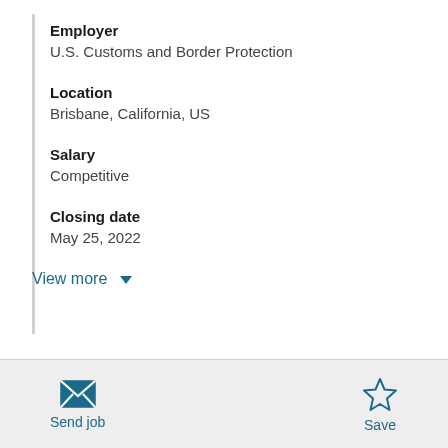Employer
U.S. Customs and Border Protection
Location
Brisbane, California, US
Salary
Competitive
Closing date
May 25, 2022
View more
Send job
Save